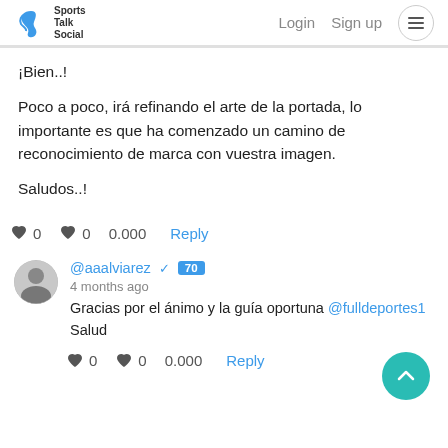Sports Talk Social | Login  Sign up
¡Bien..!

Poco a poco, irá refinando el arte de la portada, lo importante es que ha comenzado un camino de reconocimiento de marca con vuestra imagen.

Saludos..!
♥ 0  ♥ 0  0.000  Reply
@aaalviarez ✓ 70
4 months ago
Gracias por el ánimo y la guía oportuna @fulldeportes1 Salud...
♥ 0  ♥ 0  0.000  Reply